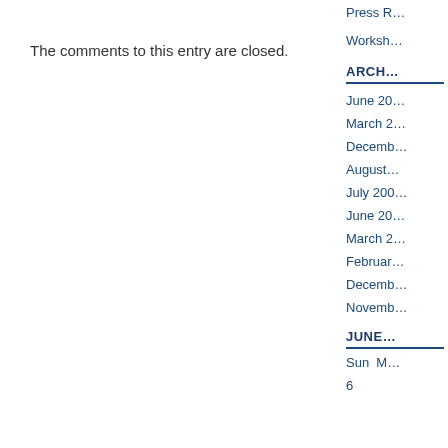The comments to this entry are closed.
Press R…
Worksh…
ARCH…
June 20…
March 2…
Decemb…
August…
July 200…
June 20…
March 2…
Februar…
Decemb…
Novemb…
JUNE…
Sun  M
6